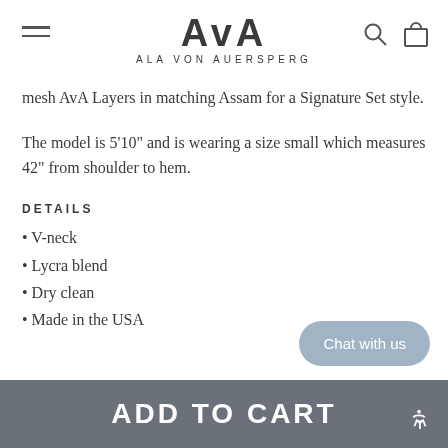AvA ALA VON AUERSPERG
mesh AvA Layers in matching Assam for a Signature Set style.
The model is 5'10" and is wearing a size small which measures 42" from shoulder to hem.
DETAILS
• V-neck
• Lycra blend
• Dry clean
• Made in the USA
ADD TO CART